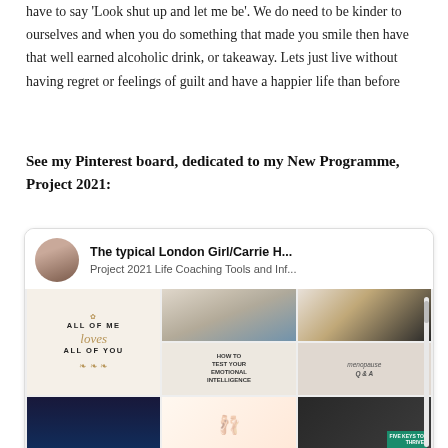have to say 'Look shut up and let me be'. We do need to be kinder to ourselves and when you do something that made you smile then have that well earned alcoholic drink, or takeaway. Lets just live without having regret or feelings of guilt and have a happier life than before
See my Pinterest board, dedicated to my New Programme, Project 2021:
[Figure (screenshot): Pinterest board card for 'The typical London Girl/Carrie H...' showing 'Project 2021 Life Coaching Tools and Inf...' with a grid of image thumbnails including motivational quotes, coaching videos, and lifestyle content.]